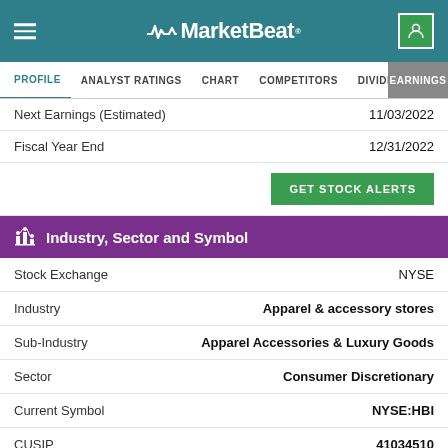MarketBeat
PROFILE  ANALYST RATINGS  CHART  COMPETITORS  DIVIDEND  EARNINGS
| Field | Value |
| --- | --- |
| Next Earnings (Estimated) | 11/03/2022 |
| Fiscal Year End | 12/31/2022 |
Industry, Sector and Symbol
| Field | Value |
| --- | --- |
| Stock Exchange | NYSE |
| Industry | Apparel & accessory stores |
| Sub-Industry | Apparel Accessories & Luxury Goods |
| Sector | Consumer Discretionary |
| Current Symbol | NYSE:HBI |
| CUSIP | 41034510 |
| CIK | 1359841 |
| Web | www.hanes.com |
| Phone | (336) 519-8080 |